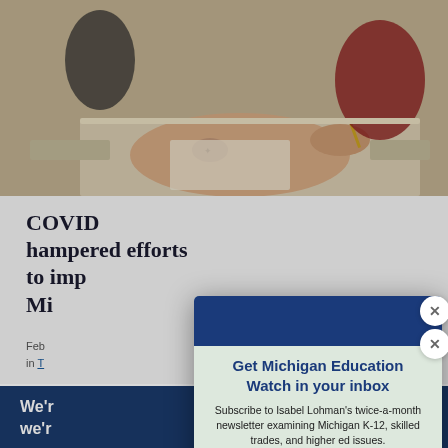[Figure (photo): Photograph of students in a classroom, one student visible writing with a pencil, tattoo visible on arm, desks and other students in background]
COVID hampered efforts to improve literacy in Michigan
February … in T…
[Figure (screenshot): Newsletter subscription modal popup overlay on the article page. Contains dark blue header bar, two close (X) buttons, title 'Get Michigan Education Watch in your inbox', subscription description text, email input field, Subscribe button, and privacy note.]
Get Michigan Education Watch in your inbox
Subscribe to Isabel Lohman's twice-a-month newsletter examining Michigan K-12, skilled trades, and higher ed issues.
Enter your email here...
SUBSCRIBE
We do not sell or share your information with anyone.
We'r… we'r…